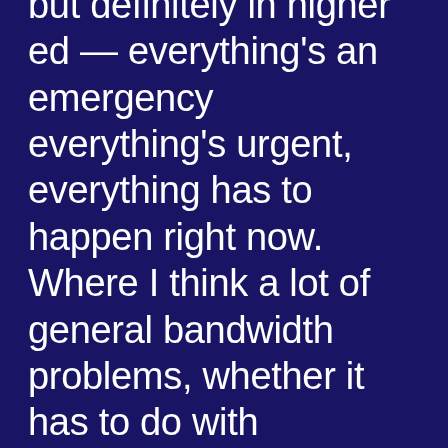but definitely in higher ed — everything's an emergency everything's urgent, everything has to happen right now. Where I think a lot of general bandwidth problems, whether it has to do with accessibility or, you know, other responsibilities that social media managers, web content people, designers, you know, anyone that's working in the digital marketing space in higher ed, all they need to do is have leadership realize that you can take an extra five minutes to make sure that something is done the right way and it can have a profound impact on not just the final product it's going out, you know, not just